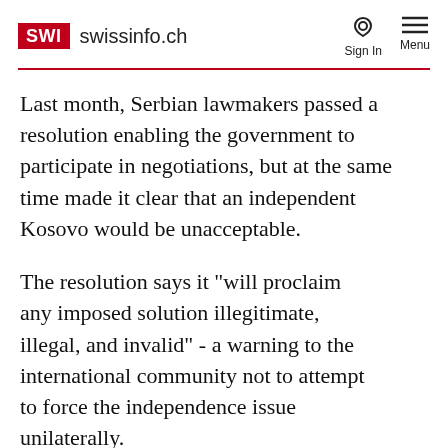SWI swissinfo.ch
Last month, Serbian lawmakers passed a resolution enabling the government to participate in negotiations, but at the same time made it clear that an independent Kosovo would be unacceptable.
The resolution says it "will proclaim any imposed solution illegitimate, illegal, and invalid" - a warning to the international community not to attempt to force the independence issue unilaterally.
Kostunica told parliament that a solution for Kosovo's status must guarantee the